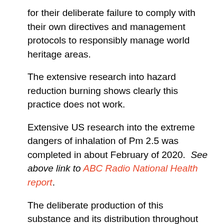for their deliberate failure to comply with their own directives and management protocols to responsibly manage world heritage areas.
The extensive research into hazard reduction burning shows clearly this practice does not work.
Extensive US research into the extreme dangers of inhalation of Pm 2.5 was completed in about February of 2020.  See above link to ABC Radio National Health report.
The deliberate production of this substance and its distribution throughout Australia should be banned immediately without exception.
Share This:
[Figure (infographic): Row of social media share icon buttons: Facebook, Twitter, Pinterest, LinkedIn, Tumblr, Digg, StumbleUpon, Yahoo, VKontakte]